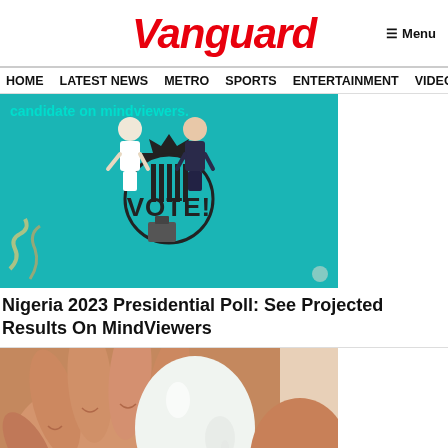Vanguard
HOME  LATEST NEWS  METRO  SPORTS  ENTERTAINMENT  VIDEOS
[Figure (illustration): Teal/turquoise background with two illustrated figures (one in white dress, one in dark suit) standing near a voting box, with a large starburst badge reading VOTE! in the center. Text at top reads 'candidate on mindviewers.']
Nigeria 2023 Presidential Poll: See Projected Results On MindViewers
[Figure (photo): Close-up photo of a hand holding a peeled hard-boiled egg, showing smooth white egg surface against skin tones.]